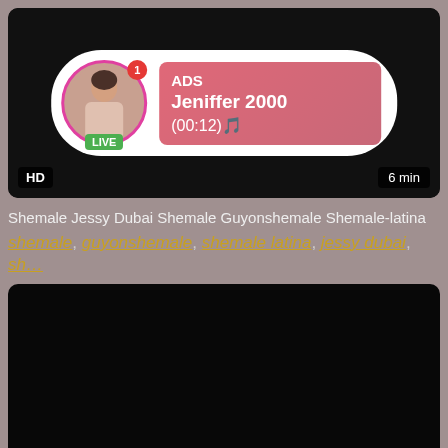[Figure (screenshot): Video thumbnail with AD overlay showing live stream from Jeniffer 2000, LIVE badge, HD badge, 6 min duration]
Shemale Jessy Dubai Shemale Guyonshemale Shemale-latina
shemale, guyonshemale, shemale latina, jessy dubai, sh...
[Figure (screenshot): Black video thumbnail with HD badge and 6 min duration label]